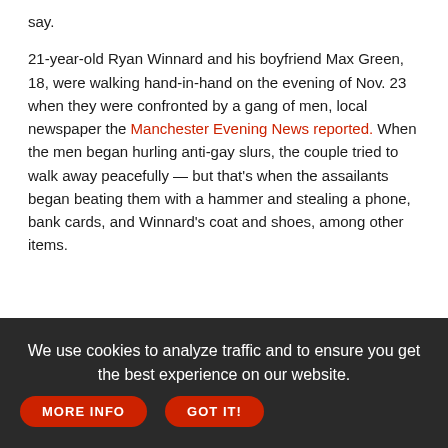say.

21-year-old Ryan Winnard and his boyfriend Max Green, 18, were walking hand-in-hand on the evening of Nov. 23 when they were confronted by a gang of men, local newspaper the Manchester Evening News reported. When the men began hurling anti-gay slurs, the couple tried to walk away peacefully — but that's when the assailants began beating them with a hammer and stealing a phone, bank cards, and Winnard's coat and shoes, among other items.
We use cookies to analyze traffic and to ensure you get the best experience on our website. MORE INFO GOT IT!